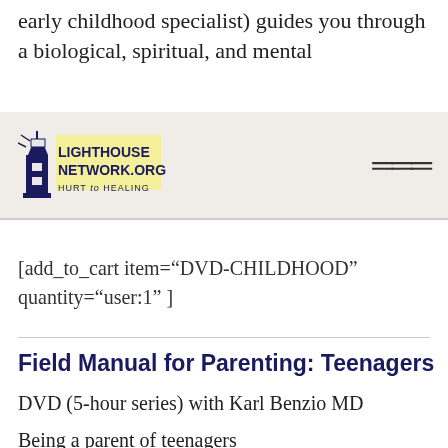early childhood specialist) guides you through a biological, spiritual, and mental
[Figure (logo): Lighthouse Network .org HURT to HEALING logo with lighthouse illustration]
[add_to_cart item="DVD-CHILDHOOD" quantity="user:1" ]
Field Manual for Parenting: Teenagers
DVD (5-hour series) with Karl Benzio MD
Being a parent of teenagers can be frustrating, challenging,